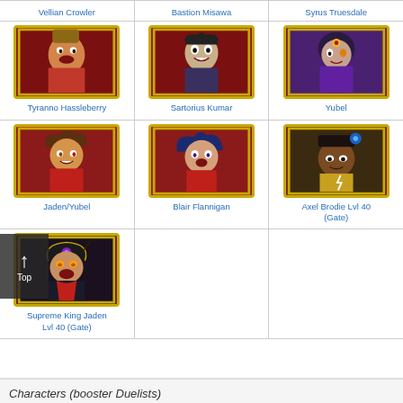Vellian Crowler
Bastion Misawa
Syrus Truesdale
[Figure (illustration): Tyranno Hassleberry anime character portrait with red background and gold border]
Tyranno Hassleberry
[Figure (illustration): Sartorius Kumar anime character portrait with red background and gold border]
Sartorius Kumar
[Figure (illustration): Yubel anime character portrait with red background and gold border]
Yubel
[Figure (illustration): Jaden/Yubel anime character portrait with red background and gold border]
Jaden/Yubel
[Figure (illustration): Blair Flannigan anime character portrait with red background and gold border]
Blair Flannigan
[Figure (illustration): Axel Brodie Lvl 40 anime character portrait with gold border]
Axel Brodie Lvl 40 (Gate)
[Figure (illustration): Supreme King Jaden anime character portrait with gold border and dark background]
Supreme King Jaden Lvl 40 (Gate)
Characters (booster Duelists)